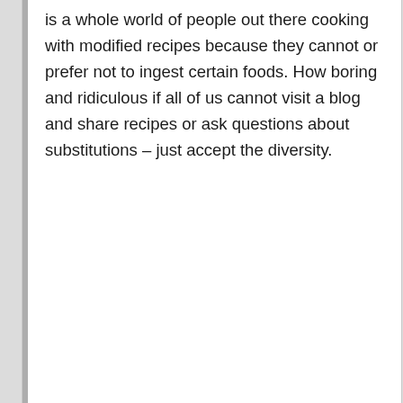is a whole world of people out there cooking with modified recipes because they cannot or prefer not to ingest certain foods. How boring and ridiculous if all of us cannot visit a blog and share recipes or ask questions about substitutions – just accept the diversity.
RACHEL
21st October 2014 at 6:29 pm
Really? Not everyone is a vegan. Hmmmm.
JESSICA
6th November 2012 at 3:51 pm